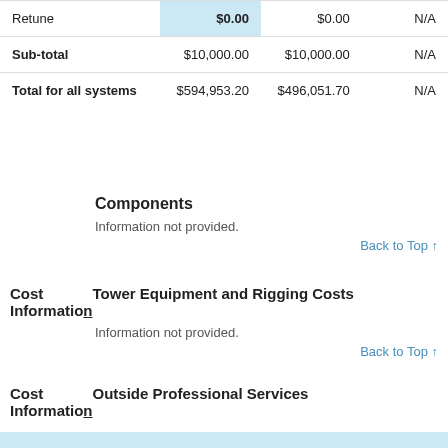|  |  |  |  |
| --- | --- | --- | --- |
| Retune | $0.00 | $0.00 | N/A |
| Sub-total | $10,000.00 | $10,000.00 | N/A |
| Total for all systems | $594,953.20 | $496,051.70 | N/A |
Components
Information not provided.
Back to Top ↑
Cost Information
Tower Equipment and Rigging Costs
Information not provided.
Back to Top ↑
Cost Information
Outside Professional Services